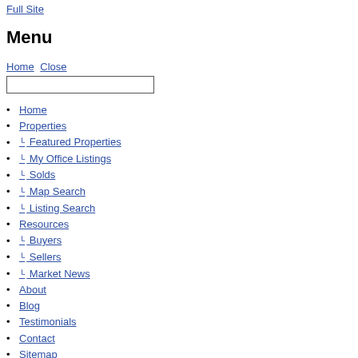Full Site
Menu
Home Close
Home
Properties
└ Featured Properties
└ My Office Listings
└ Solds
└ Map Search
└ Listing Search
Resources
└ Buyers
└ Sellers
└ Market News
About
Blog
Testimonials
Contact
Sitemap